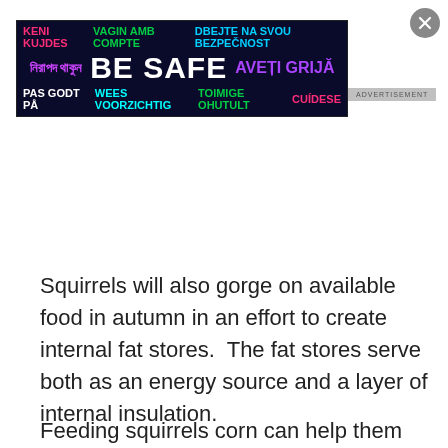[Figure (other): Advertisement banner with dark navy background showing 'BE SAFE' in large white bold text, surrounded by the phrase in multiple languages and scripts in various colors (pink, green, cyan, purple, white). Languages include Bengali, Danish, Dutch, Estonian, Spanish, Czech, Catalan.]
Squirrels will also gorge on available food in autumn in an effort to create internal fat stores.  The fat stores serve both as an energy source and a layer of internal insulation.
Feeding squirrels corn can help them bulk